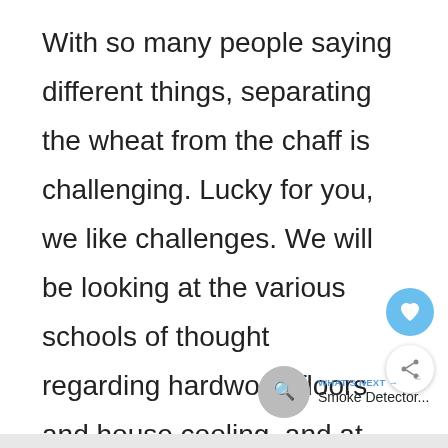With so many people saying different things, separating the wheat from the chaff is challenging. Lucky for you, we like challenges. We will be looking at the various schools of thought regarding hardwood floors and house cooling, and at the end of this article, you will know all there is to know.
[Figure (other): Heart (like) button — circular blue button with a white heart icon]
[Figure (other): Share button — circular white button with a share/network icon]
[Figure (other): What's Next widget showing a thumbnail image and text 'WHAT'S NEXT → Smoke Detector...']